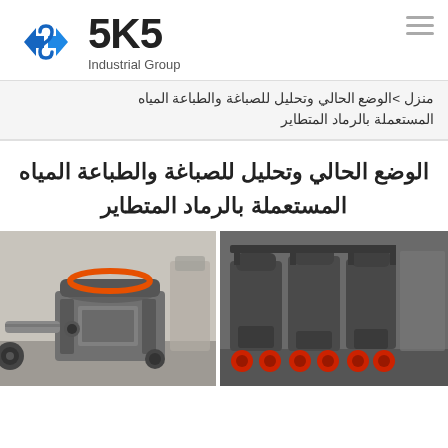[Figure (logo): SKS Industrial Group logo with blue diamond/arrow emblem and bold SKS text]
منزل > الوضع الحالي وتحليل للصباغة والطباعة المياه المستعملة بالرماد المتطاير
الوضع الحالي وتحليل للصباغة والطباعة المياه المستعملة بالرماد المتطاير
[Figure (photo): Industrial sand making or crushing machine in a factory setting, grey/metal machinery]
[Figure (photo): Multiple industrial cone crusher or spring crusher machines lined up with red and black parts]